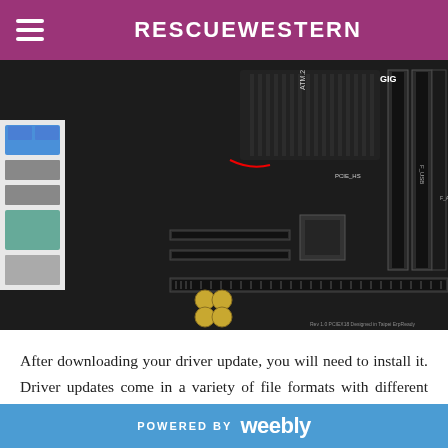RESCUEWESTERN
[Figure (photo): Close-up photo of a Gigabyte computer motherboard showing PCIe slots, M.2 slot, USB headers, audio headers, and various electronic components on a black PCB]
After downloading your driver update, you will need to install it. Driver updates come in a variety of file formats with different file extensions. For example, you may have downloaded an EXE, INF, ZIP, or SYS file. Each file type has a slighty different installation procedure to follow. Visit our Driver Support Page to
POWERED BY weebly